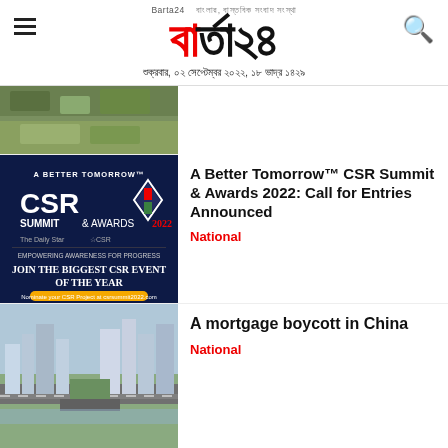Barta24
শুক্রবার, ০২ সেপ্টেম্বর ২০২২, ১৮ ভাদ্র ১৪২৯
[Figure (photo): Partial top image of dense trees/vegetation hillside]
[Figure (photo): A Better Tomorrow CSR Summit & Awards 2022 advertisement — dark blue background with event logo, text: JOIN THE BIGGEST CSR EVENT OF THE YEAR]
A Better Tomorrow™ CSR Summit & Awards 2022: Call for Entries Announced
National
[Figure (photo): Aerial view of Chinese city with highways and skyscrapers]
A mortgage boycott in China
National
[Figure (photo): Partial bottom image, flags visible]
More U.S. lawmakers visit